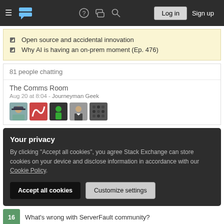Stack Exchange navigation header with hamburger menu, logo, help, chat, search icons, Log in and Sign up buttons
Open source and accidental innovation
Why AI is having an on-prem moment (Ep. 476)
81 people chatting
The Comms Room
Aug 20 at 8:04 - Journeyman Geek
[Figure (other): Five user avatars in a row for The Comms Room chat room]
Your privacy
By clicking "Accept all cookies", you agree Stack Exchange can store cookies on your device and disclose information in accordance with our Cookie Policy.
Accept all cookies    Customize settings
16  What's wrong with ServerFault community?